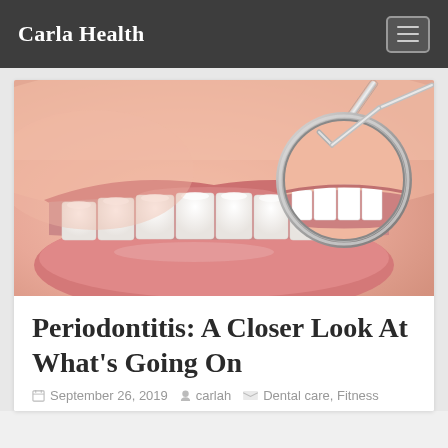Carla Health
[Figure (photo): Close-up photo of a woman's smile showing white teeth, with a dental mirror reflecting the teeth on the right side]
Periodontitis: A Closer Look At What's Going On
September 26, 2019   carlah   Dental care, Fitness